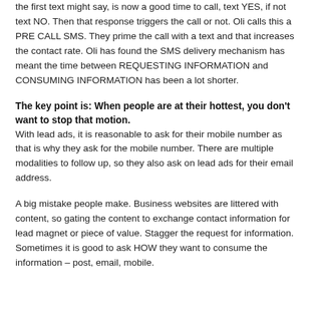the first text might say, is now a good time to call, text YES, if not text NO. Then that response triggers the call or not. Oli calls this a PRE CALL SMS. They prime the call with a text and that increases the contact rate. Oli has found the SMS delivery mechanism has meant the time between REQUESTING INFORMATION and CONSUMING INFORMATION has been a lot shorter.
The key point is: When people are at their hottest, you don't want to stop that motion. With lead ads, it is reasonable to ask for their mobile number as that is why they ask for the mobile number. There are multiple modalities to follow up, so they also ask on lead ads for their email address.
A big mistake people make. Business websites are littered with content, so gating the content to exchange contact information for lead magnet or piece of value. Stagger the request for information. Sometimes it is good to ask HOW they want to consume the information – post, email, mobile.